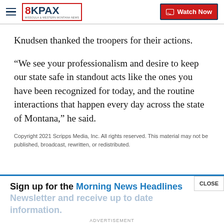8KPAX | Watch Now
Knudsen thanked the troopers for their actions.
“We see your professionalism and desire to keep our state safe in standout acts like the ones you have been recognized for today, and the routine interactions that happen every day across the state of Montana,” he said.
Copyright 2021 Scripps Media, Inc. All rights reserved. This material may not be published, broadcast, rewritten, or redistributed.
Sign up for the Morning News Headlines Newsletter and receive up to date information.
ADVERTISEMENT